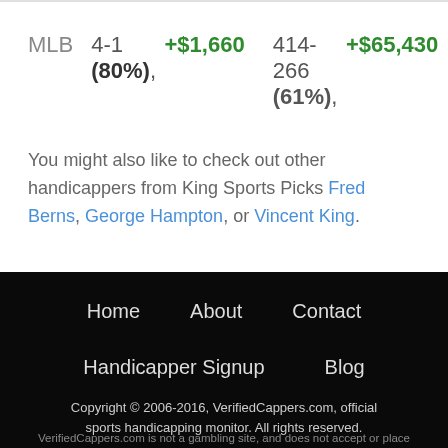MLB   4-1 (80%), +$1,660   414-266 (61%), +$65,430
You might also like to check out other handicappers from King Sports Picks Fred Berns, George Hampton, or Vincent King.
Home   About   Contact   Handicapper Signup   Blog   Copyright © 2006-2016, VerifiedCappers.com, official sports handicapping monitor. All rights reserved.   VerifiedCappers.com is not a gambling site, and does not accept or place